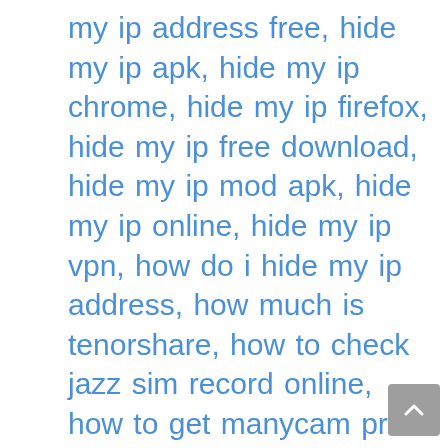my ip address free, hide my ip apk, hide my ip chrome, hide my ip firefox, hide my ip free download, hide my ip mod apk, hide my ip online, hide my ip vpn, how do i hide my ip address, how much is tenorshare, how to check jazz sim record online, how to get manycam pro for free, how to get voicemod pro for free, how to hide my ip address on iphone, how to hide my ip address without vpn, how to remove glitch in circuit, how to use active file recovery, how to use ipvanish vpn, how to use snapgene, how to use tenorshare icarefone, how to use voxal voice changer, how to use voxal voice changer on discord, illformed glitch 2, illformed glitch 2